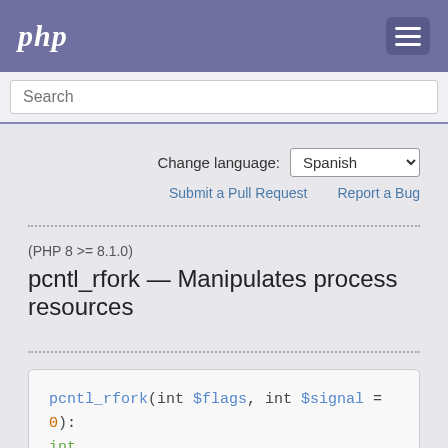php
Search
Change language: Spanish
Submit a Pull Request   Report a Bug
(PHP 8 >= 8.1.0)
pcntl_rfork — Manipulates process resources
pcntl_rfork(int $flags, int $signal = 0): int